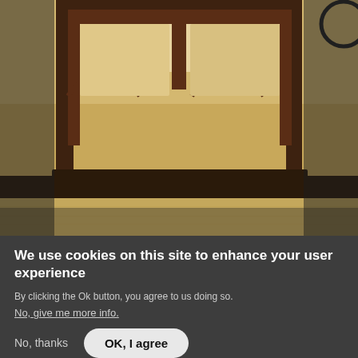[Figure (photo): Close-up photo looking up at an ornate arched window with dark wooden frames, showing yellowish stone surroundings. The window has gothic-style arch detailing at the bottom.]
We use cookies on this site to enhance your user experience
By clicking the Ok button, you agree to us doing so.
No, give me more info.
No, thanks
OK, I agree